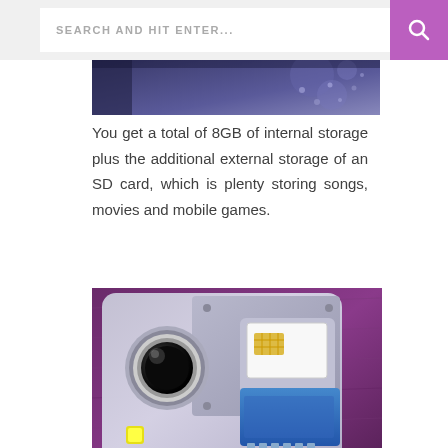SEARCH AND HIT ENTER...
[Figure (photo): Partial top view of a smartphone, cropped at top, showing the back of a blue/purple phone]
You get a total of 8GB of internal storage plus the additional external storage of an SD card, which is plenty storing songs, movies and mobile games.
[Figure (photo): Close-up photo of the back of a smartphone showing the camera lens, flash, and an SD card being inserted into a slot, with a purple fabric background]